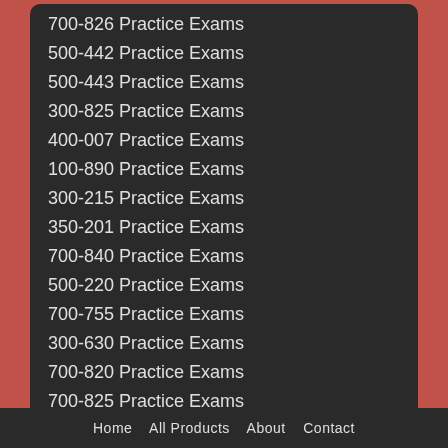700-826 Practice Exams
500-442 Practice Exams
500-443 Practice Exams
300-825 Practice Exams
400-007 Practice Exams
100-890 Practice Exams
300-215 Practice Exams
350-201 Practice Exams
700-840 Practice Exams
500-220 Practice Exams
700-755 Practice Exams
300-630 Practice Exams
700-820 Practice Exams
700-825 Practice Exams
700-695 Practice Exams
210-251 Practice Exams
Home   All Products   About   Contact